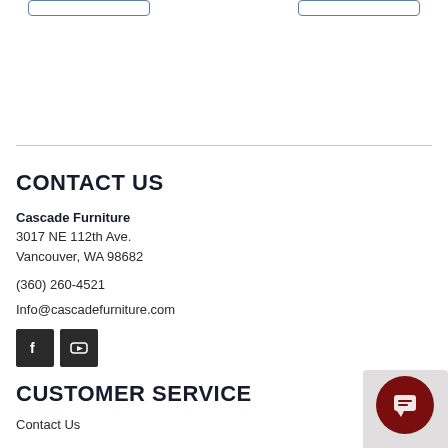CONTACT US
Cascade Furniture
3017 NE 112th Ave.
Vancouver, WA 98682
(360) 260-4521
Info@cascadefurniture.com
[Figure (other): Social media icons: Facebook and YouTube]
CUSTOMER SERVICE
Contact Us
[Figure (other): Dark red circular chat button with message icon]